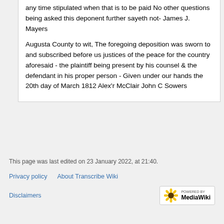any time stipulated when that is to be paid No other questions being asked this deponent further sayeth not- James J. Mayers
Augusta County to wit, The foregoing deposition was sworn to and subscribed before us justices of the peace for the country aforesaid - the plaintiff being present by his counsel & the defendant in his proper person - Given under our hands the 20th day of March 1812 Alex'r McClair John C Sowers
This page was last edited on 23 January 2022, at 21:40.
Privacy policy   About Transcribe Wiki
Disclaimers